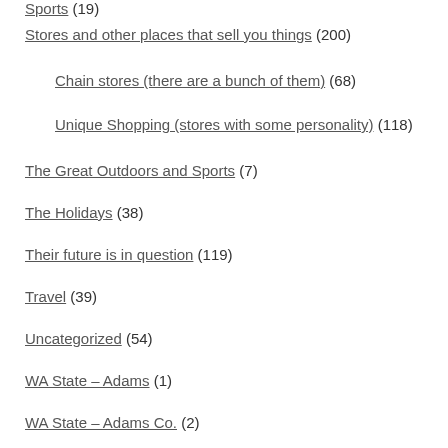Sports (19)
Stores and other places that sell you things (200)
Chain stores (there are a bunch of them) (68)
Unique Shopping (stores with some personality) (118)
The Great Outdoors and Sports (7)
The Holidays (38)
Their future is in question (119)
Travel (39)
Uncategorized (54)
WA State – Adams (1)
WA State – Adams Co. (2)
Washtucna (1)
WA State – Benton County (1)
Kennewick (1)
WA State – Franklin (1)
Pasco (1)
WA State – Garfield County (1)
Pomeroy (1)
WA State – Grant Co. (2)